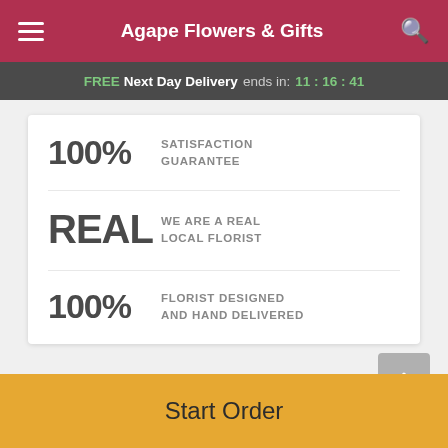Agape Flowers & Gifts
FREE Next Day Delivery ends in: 11 : 16 : 41
100% SATISFACTION GUARANTEE
REAL WE ARE A REAL LOCAL FLORIST
100% FLORIST DESIGNED AND HAND DELIVERED
Description
Start Order